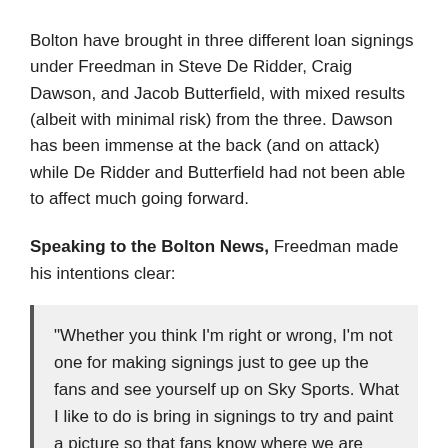Bolton have brought in three different loan signings under Freedman in Steve De Ridder, Craig Dawson, and Jacob Butterfield, with mixed results (albeit with minimal risk) from the three. Dawson has been immense at the back (and on attack) while De Ridder and Butterfield had not been able to affect much going forward.
Speaking to the Bolton News, Freedman made his intentions clear:
"Whether you think I'm right or wrong, I'm not one for making signings just to gee up the fans and see yourself up on Sky Sports. What I like to do is bring in signings to try and paint a picture so that fans know where we are trying to go.